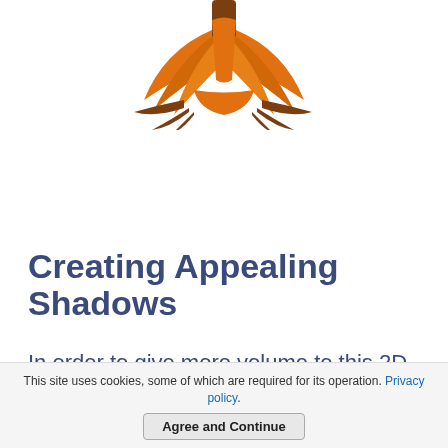[Figure (illustration): Bottom portion of a cartoon bird or creature illustration showing orange and brown feet/talons/feathers against a white background]
Creating Appealing Shadows
In order to give more volume to this 2D illustration, it's a good practice to draw a few shadows. These new shapes must be filled with a dark color and also be partially transparent. Our goal is to create a subtle image, not sketch a dark and terrifying creature!:)
This site uses cookies, some of which are required for its operation. Privacy policy. Agree and Continue